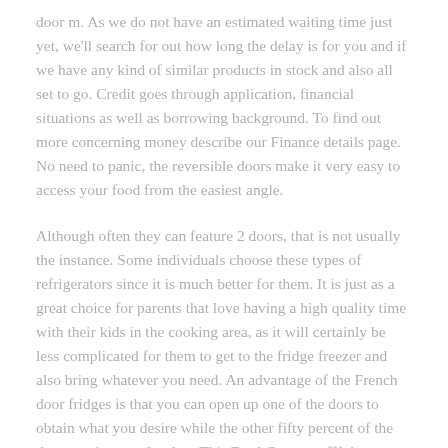door m. As we do not have an estimated waiting time just yet, we'll search for out how long the delay is for you and if we have any kind of similar products in stock and also all set to go. Credit goes through application, financial situations as well as borrowing background. To find out more concerning money describe our Finance details page. No need to panic, the reversible doors make it very easy to access your food from the easiest angle.
Although often they can feature 2 doors, that is not usually the instance. Some individuals choose these types of refrigerators since it is much better for them. It is just as a great choice for parents that love having a high quality time with their kids in the cooking area, as it will certainly be less complicated for them to get to the fridge freezer and also bring whatever you need. An advantage of the French door fridges is that you can open up one of the doors to obtain what you desire while the other fifty percent of the door continues to be shut. This FreshConverter™ drawer allows you keep your food at the ideal temperature. Created specially for your vegetables, fish, as well as meat, the